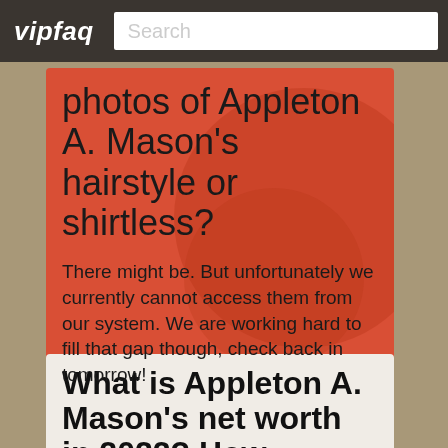vipfaq | Search
photos of Appleton A. Mason's hairstyle or shirtless?
There might be. But unfortunately we currently cannot access them from our system. We are working hard to fill that gap though, check back in tomorrow!
What is Appleton A. Mason's net worth in 2022? How much...